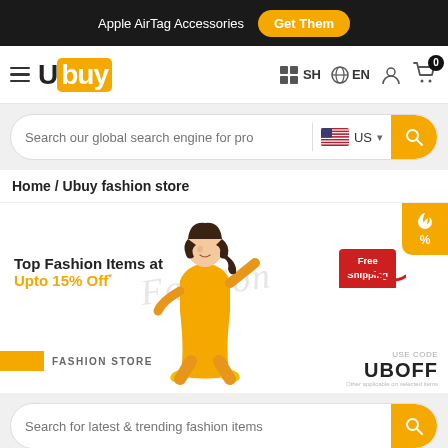Apple AirTag Accessories  Get Them
[Figure (logo): Ubuy logo with hamburger menu and navigation icons (SH, EN, user, cart with 0 badge)]
Search our global search engine for pro  US
Home / Ubuy fashion store
[Figure (infographic): Fashion store banner with woman in yellow outfit, text 'Top Fashion Items at Upto 15% Off*', 'FASHION STORE', 'Free Shipping' tag, 'USE CODE UBOFF', fire/percent promo icon, and Fashion watermark]
Search for latest & trending fashion items